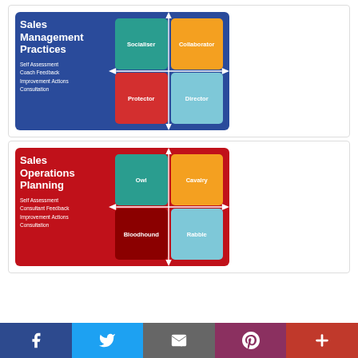[Figure (infographic): Sales Management Practices infographic with blue background showing a 2x2 quadrant grid with Socialiser (teal), Collaborator (orange), Protector (red), Director (light blue) quadrants and text: Self Assessment, Coach Feedback, Improvement Actions, Consultation]
[Figure (infographic): Sales Operations Planning infographic with red background showing a 2x2 quadrant grid with Owl (teal), Cavalry (orange), Bloodhound (dark red), Rabble (light blue) quadrants and text: Self Assessment, Consultant Feedback, Improvement Actions, Consultation]
[Figure (other): Social media sharing bar with icons for Facebook, Twitter, Email, Pinterest, and a plus button]